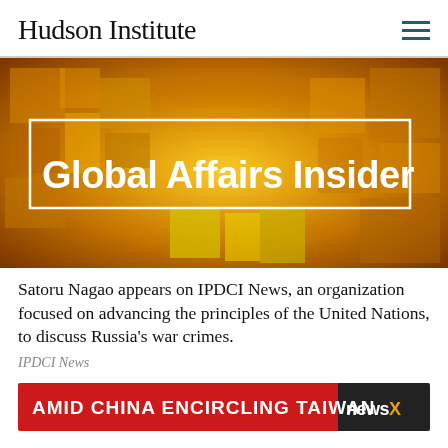Hudson Institute
[Figure (screenshot): Golden/amber colored graphic with 3D cube shapes in background and white bold text reading 'Global Affairs Insider' with a white rectangle border around the text]
Satoru Nagao appears on IPDCI News, an organization focused on advancing the principles of the United Nations, to discuss Russia's war crimes.
IPDCI News
[Figure (screenshot): News ticker/banner with red background showing white bold text 'AMID CHINA ENCIRCLING TAIWAN' and NewsX logo on the right]